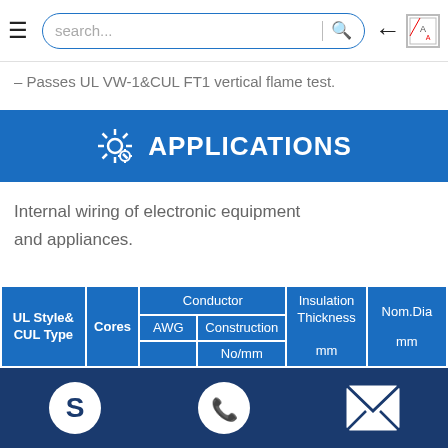search...
– Passes UL VW-1&CUL FT1 vertical flame test.
APPLICATIONS
Internal wiring of electronic equipment and appliances.
| UL Style& CUL Type | Cores | AWG | Construction No/mm | Insulation Thickness mm | Nom.Dia mm |
| --- | --- | --- | --- | --- | --- |
Skype | WhatsApp | Email